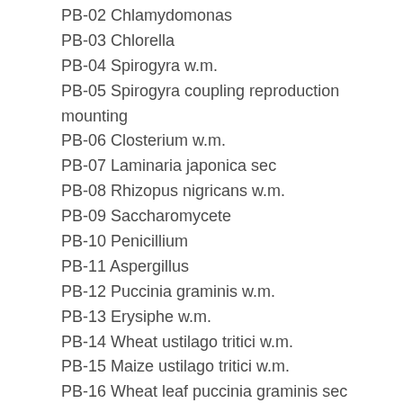PB-02 Chlamydomonas
PB-03 Chlorella
PB-04 Spirogyra w.m.
PB-05 Spirogyra coupling reproduction mounting
PB-06 Closterium w.m.
PB-07 Laminaria japonica sec
PB-08 Rhizopus nigricans w.m.
PB-09 Saccharomycete
PB-10 Penicillium
PB-11 Aspergillus
PB-12 Puccinia graminis w.m.
PB-13 Erysiphe w.m.
PB-14 Wheat ustilago tritici w.m.
PB-15 Maize ustilago tritici w.m.
PB-16 Wheat leaf puccinia graminis sec